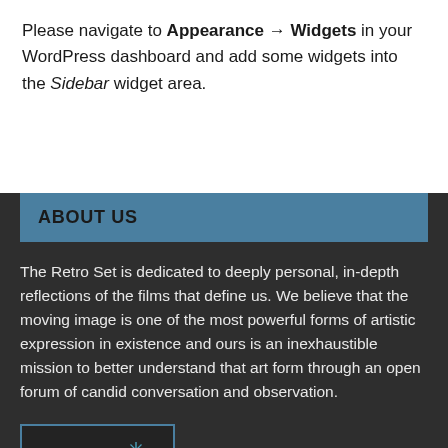Please navigate to Appearance → Widgets in your WordPress dashboard and add some widgets into the Sidebar widget area.
ABOUT US
The Retro Set is dedicated to deeply personal, in-depth reflections of the films that define us. We believe that the moving image is one of the most powerful forms of artistic expression in existence and ours is an inexhaustible mission to better understand that art form through an open forum of candid conversation and observation.
[Figure (logo): The Retro Set logo — stylized retro script text reading 'The Retro Set' with star/asterisk decorative elements, in teal/blue on dark background]